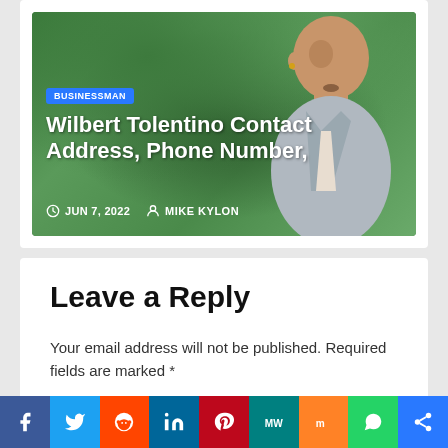[Figure (photo): Article card showing a man against a green leafy background with BUSINESSMAN badge, title 'Wilbert Tolentino Contact Address, Phone Number,' and meta info JUN 7, 2022 and MIKE KYLON]
Wilbert Tolentino Contact Address, Phone Number,
JUN 7, 2022   MIKE KYLON
Leave a Reply
Your email address will not be published. Required fields are marked *
[Figure (infographic): Social share buttons row: Facebook, Twitter, Reddit, LinkedIn, Pinterest, MeWe, Mix, WhatsApp, Share]